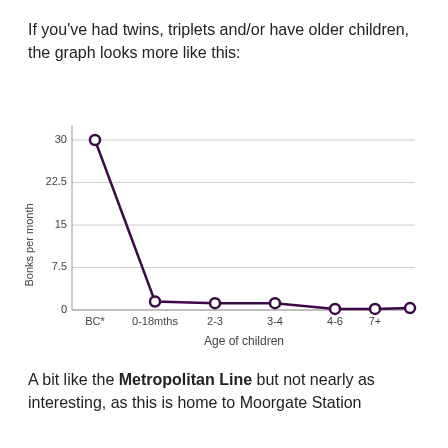If you've had twins, triplets and/or have older children, the graph looks more like this:
[Figure (line-chart): ]
A bit like the Metropolitan Line but not nearly as interesting, as this is home to Moorgate Station